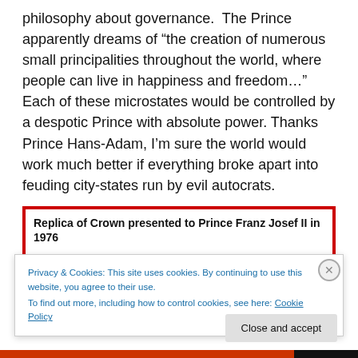philosophy about governance. The Prince apparently dreams of “the creation of numerous small principalities throughout the world, where people can live in happiness and freedom…” Each of these microstates would be controlled by a despotic Prince with absolute power. Thanks Prince Hans-Adam, I’m sure the world would work much better if everything broke apart into feuding city-states run by evil autocrats.
[Figure (photo): Image box with red border showing caption 'Replica of Crown presented to Prince Franz Josef II in 1976' and a partially visible crown icon image.]
Privacy & Cookies: This site uses cookies. By continuing to use this website, you agree to their use.
To find out more, including how to control cookies, see here: Cookie Policy